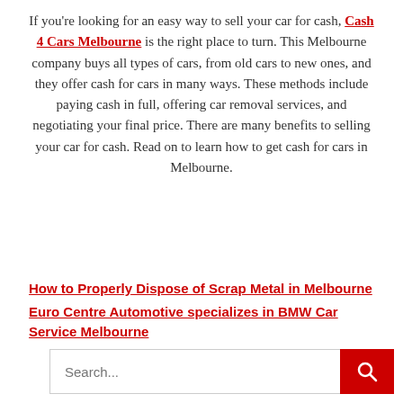If you're looking for an easy way to sell your car for cash, Cash 4 Cars Melbourne is the right place to turn. This Melbourne company buys all types of cars, from old cars to new ones, and they offer cash for cars in many ways. These methods include paying cash in full, offering car removal services, and negotiating your final price. There are many benefits to selling your car for cash. Read on to learn how to get cash for cars in Melbourne.
How to Properly Dispose of Scrap Metal in Melbourne
Euro Centre Automotive specializes in BMW Car Service Melbourne